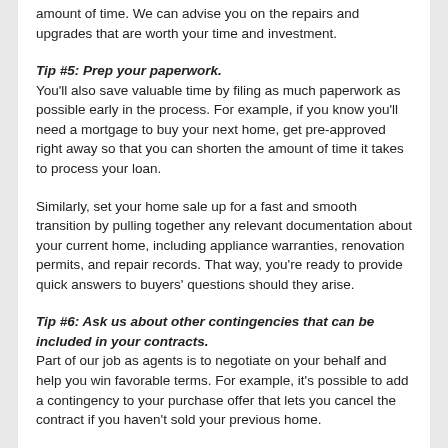amount of time. We can advise you on the repairs and upgrades that are worth your time and investment.
Tip #5: Prep your paperwork.
You'll also save valuable time by filing as much paperwork as possible early in the process. For example, if you know you'll need a mortgage to buy your next home, get pre-approved right away so that you can shorten the amount of time it takes to process your loan.
Similarly, set your home sale up for a fast and smooth transition by pulling together any relevant documentation about your current home, including appliance warranties, renovation permits, and repair records. That way, you're ready to provide quick answers to buyers' questions should they arise.
Tip #6: Ask us about other contingencies that can be included in your contracts.
Part of our job as agents is to negotiate on your behalf and help you win favorable terms. For example, it's possible to add a contingency to your purchase offer that lets you cancel the contract if you haven't sold your previous home.